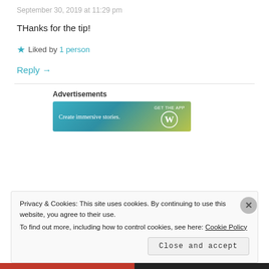September 30, 2019 at 11:29 pm
THanks for the tip!
★ Liked by 1 person
Reply →
[Figure (other): WordPress advertisement banner: 'Create immersive stories. GET THE APP' with WordPress logo, gradient background blue to yellow-green]
MADELINE BARTSON
Privacy & Cookies: This site uses cookies. By continuing to use this website, you agree to their use. To find out more, including how to control cookies, see here: Cookie Policy
Close and accept